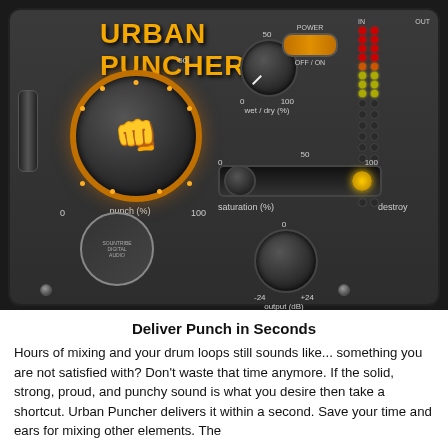[Figure (screenshot): Urban Puncher audio plugin interface showing a dark hardware-style plugin with an orange-ringed punch knob, wet/dry knob, saturation slider, output knob, power button, and LED meter on the right side. Title 'URBAN PUNCHER' in orange graffiti font at top left.]
Deliver Punch in Seconds
Hours of mixing and your drum loops still sounds like... something you are not satisfied with? Don't waste that time anymore. If the solid, strong, proud, and punchy sound is what you desire then take a shortcut. Urban Puncher delivers it within a second. Save your time and ears for mixing other elements. The